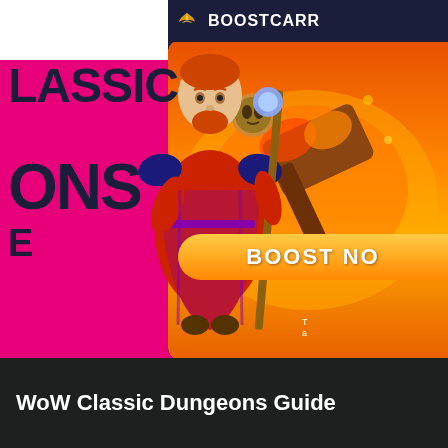[Figure (screenshot): WoW Classic Dungeons promotional screenshot composite. Left side shows white panel with pink/magenta diagonal shape and large text reading 'LASSIC', 'ONS', 'E'. Center shows a World of Warcraft game character (gnome/dwarf mage in red robe holding staff). Right side shows BoostCarry branded panel with dark navy header containing BoostCarry logo and text, orange/fire background with flaming weapon/hammer artwork, and a 'BOOST NO' (BOOST NOW) orange button. Bottom right has small white text.]
WoW Classic Dungeons Guide